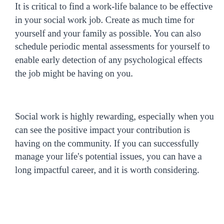It is critical to find a work-life balance to be effective in your social work job. Create as much time for yourself and your family as possible. You can also schedule periodic mental assessments for yourself to enable early detection of any psychological effects the job might be having on you.
Social work is highly rewarding, especially when you can see the positive impact your contribution is having on the community. If you can successfully manage your life’s potential issues, you can have a long impactful career, and it is worth considering.